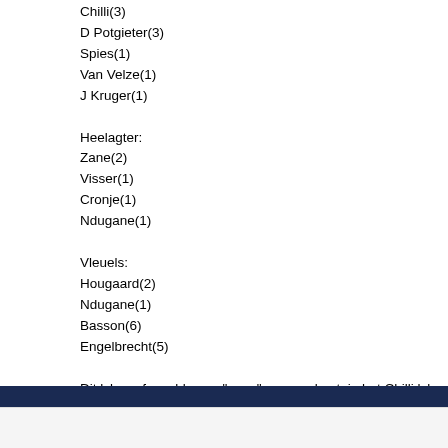Chilli(3)
D Potgieter(3)
Spies(1)
Van Velze(1)
J Kruger(1)

Heelagter:
Zane(2)
Visser(1)
Cronje(1)
Ndugane(1)

Vleuels:
Hougaard(2)
Ndugane(1)
Basson(6)
Engelbrecht(5)

Dit lyk asof ons blog se "span"amper n kaptein het.Chilli lyk na die gunstelin kry.Basson en Engelbrecht lyk na die vleuels sover.Heelagter is interresant.
Posted
2  Soos ek voorheen gesê het... ons kanse is so goed soos die van Japan om jaar! ;)
Posted by
1  Dit sal ons laaste game wees vir die jaar. Daar is geen manier wat die WP g
Posted